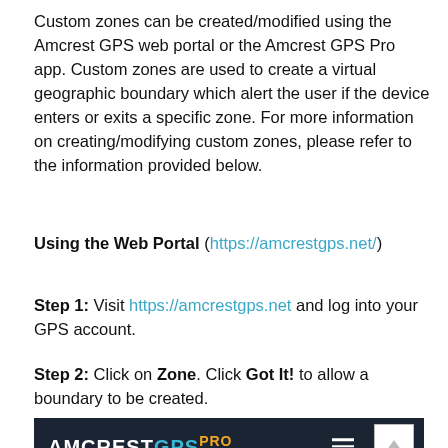Custom zones can be created/modified using the Amcrest GPS web portal or the Amcrest GPS Pro app. Custom zones are used to create a virtual geographic boundary which alert the user if the device enters or exits a specific zone. For more information on creating/modifying custom zones, please refer to the information provided below.
Using the Web Portal (https://amcrestgps.net/)
Step 1: Visit https://amcrestgps.net and log into your GPS account.
Step 2: Click on Zone. Click Got It! to allow a boundary to be created.
[Figure (screenshot): Screenshot of Amcrest GPS Pro web portal header showing the AMCREST GPS PRO logo in white and cyan on a dark navy background, with a hamburger menu icon.]